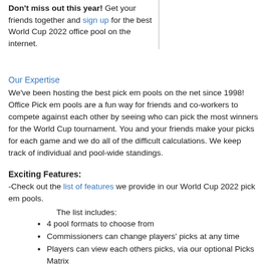Don't miss out this year! Get your friends together and sign up for the best World Cup 2022 office pool on the internet.
Our Expertise
We've been hosting the best pick em pools on the net since 1998! Office Pick em pools are a fun way for friends and co-workers to compete against each other by seeing who can pick the most winners for the World Cup tournament. You and your friends make your picks for each game and we do all of the difficult calculations. We keep track of individual and pool-wide standings.
Exciting Features:
-Check out the list of features we provide in our World Cup 2022 pick em pools.
The list includes:
4 pool formats to choose from
Commissioners can change players' picks at any time
Players can view each others picks, via our optional Picks Matrix
Add alias accounts for players who can't get to the internet